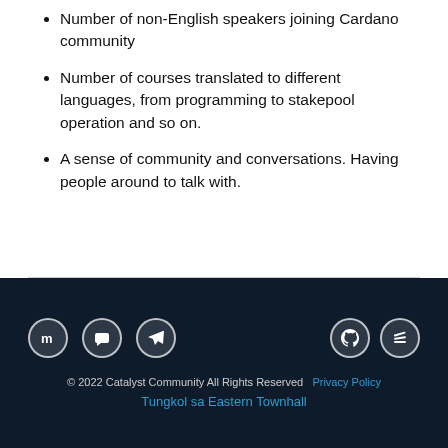Number of non-English speakers joining Cardano community
Number of courses translated to different languages, from programming to stakepool operation and so on.
A sense of community and conversations. Having people around to talk with.
© 2022 Catalyst Community All Rights Reserved  Privacy Policy  Tungkol sa Eastern Townhall